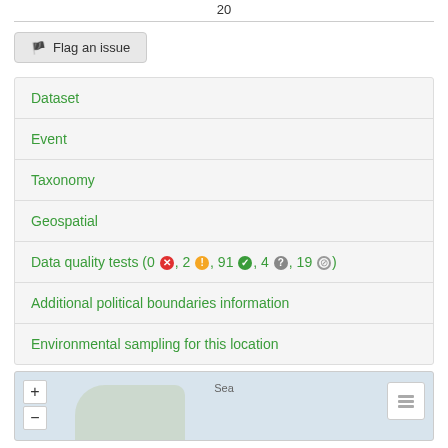20
Flag an issue
Dataset
Event
Taxonomy
Geospatial
Data quality tests (0 ✗, 2 !, 91 ✓, 4 ?, 19 ∅)
Additional political boundaries information
Environmental sampling for this location
[Figure (map): Map preview showing a geographic region with zoom controls and layer switcher]